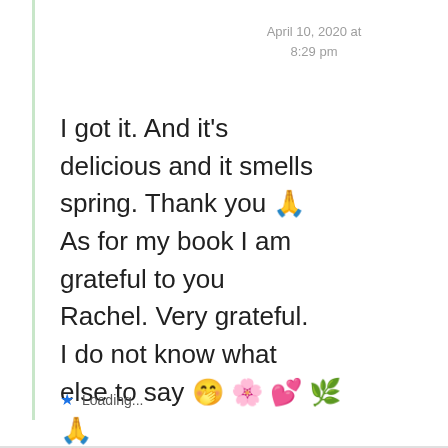April 10, 2020 at 8:29 pm
I got it. And it’s delicious and it smells spring. Thank you 🙏 As for my book I am grateful to you Rachel. Very grateful. I do not know what else to say 🤭 🌸 💕 🌿 🙏
Loading...